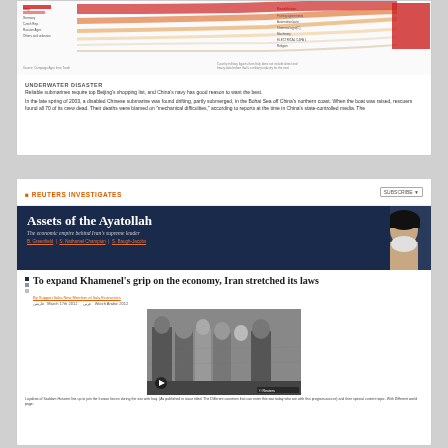[Figure (infographic): Sankey/flow chart showing military or campaign-related data with colored flow lines, legend with country names on left and right sides, source note at bottom]
UNDERWATER DISASTER
Reliable submarines require top Beijing's shopping list, and China's navy has good reason to want the best.
In the late spring of 2003, a disabled Chinese submarine was found drifting, partly submerged, in the Bohai Sea off China's northern coast. When the boat was raised, rescuers found all 70 of its crew dead. Their deaths were blamed on "mechanical difficulties," according to reports at the time in China's state-controlled media. The
[Figure (screenshot): Reuters Investigates article screenshot showing 'Assets of the Ayatollah - The economic empire behind Iran's supreme leader' with a dark blue hero banner featuring a photo of Khamenei, and article section 'To expand Khamenei's grip on the economy, Iran stretched its laws' with a black-and-white archival photo of military figures]
Loyalists of Saddam Hussein line up to join the Iranian forces during the war with Iraq. (As published in issue titled: The Different countries that can enter this war today who are with this program-source)